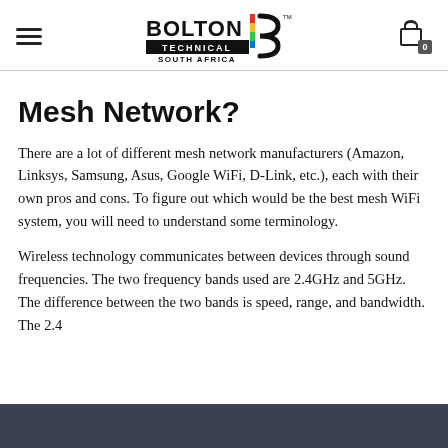Bolton Technical South Africa
Mesh Network?
There are a lot of different mesh network manufacturers (Amazon, Linksys, Samsung, Asus, Google WiFi, D-Link, etc.), each with their own pros and cons. To figure out which would be the best mesh WiFi system, you will need to understand some terminology.
Wireless technology communicates between devices through sound frequencies. The two frequency bands used are 2.4GHz and 5GHz. The difference between the two bands is speed, range, and bandwidth. The 2.4